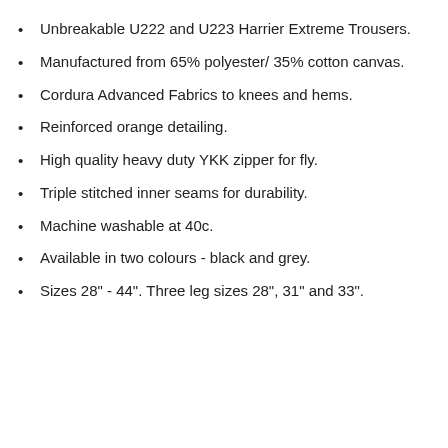Unbreakable U222 and U223 Harrier Extreme Trousers.
Manufactured from 65% polyester/ 35% cotton canvas.
Cordura Advanced Fabrics to knees and hems.
Reinforced orange detailing.
High quality heavy duty YKK zipper for fly.
Triple stitched inner seams for durability.
Machine washable at 40c.
Available in two colours - black and grey.
Sizes 28" - 44". Three leg sizes 28", 31" and 33".